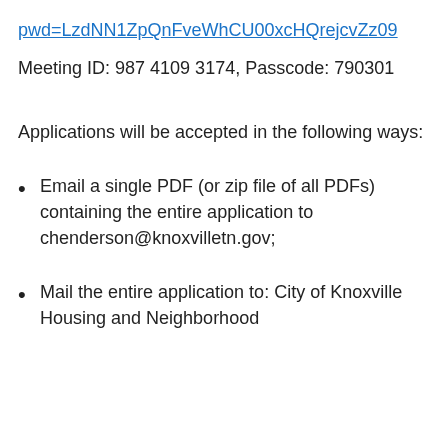pwd=LzdNN1ZpQnFveWhCU00xcHQrejcvZz09
Meeting ID: 987 4109 3174, Passcode: 790301
Applications will be accepted in the following ways:
Email a single PDF (or zip file of all PDFs) containing the entire application to chenderson@knoxvilletn.gov;
Mail the entire application to: City of Knoxville Housing and Neighborhood